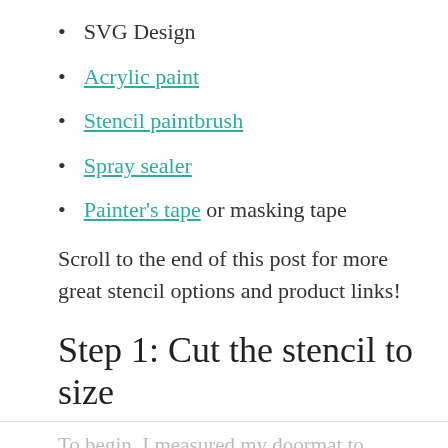SVG Design
Acrylic paint
Stencil paintbrush
Spray sealer
Painter's tape or masking tape
Scroll to the end of this post for more great stencil options and product links!
Step 1: Cut the stencil to size
To begin, I measured my doormat to figure out how large my lettering should be...